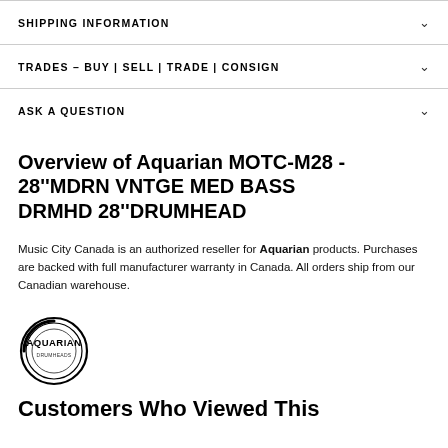SHIPPING INFORMATION
TRADES – BUY | SELL | TRADE | CONSIGN
ASK A QUESTION
Overview of Aquarian MOTC-M28 - 28''MDRN VNTGE MED BASS DRMHD 28''DRUMHEAD
Music City Canada is an authorized reseller for Aquarian products. Purchases are backed with full manufacturer warranty in Canada. All orders ship from our Canadian warehouse.
[Figure (logo): Aquarian Drumheads circular logo with concentric rings and bold text]
Customers Who Viewed This